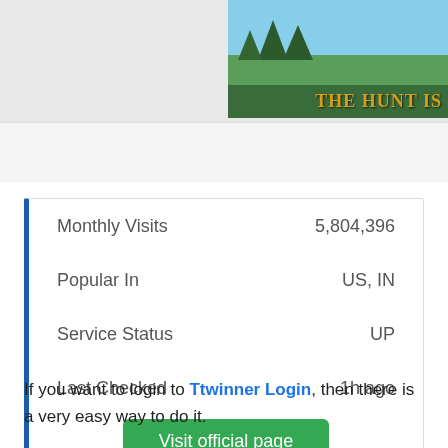[Figure (screenshot): Wolf Game advertisement banner with wolves and forest background, text 'THE HUNT IS']
|  |  |
| --- | --- |
| Monthly Visits | 5,804,396 |
| Popular In | US, IN |
| Service Status | UP |
| Last Checked | 1h ago |
Visit official page
If you want to login to Ttwinner Login, then there is a very easy way to do it.